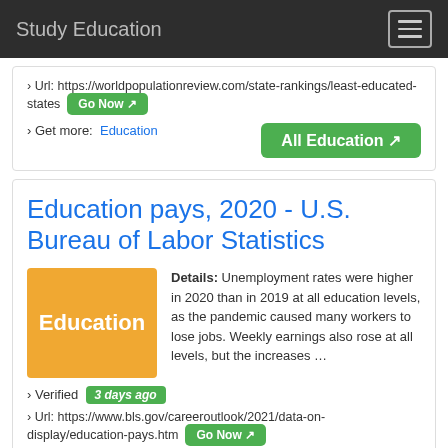Study Education
› Url: https://worldpopulationreview.com/state-rankings/least-educated-states  Go Now
› Get more:  Education    All Education
Education pays, 2020 - U.S. Bureau of Labor Statistics
[Figure (illustration): Orange square thumbnail with white text reading 'Education']
Details: Unemployment rates were higher in 2020 than in 2019 at all education levels, as the pandemic caused many workers to lose jobs. Weekly earnings also rose at all levels, but the increases …
› Verified  3 days ago
› Url: https://www.bls.gov/careeroutlook/2021/data-on-display/education-pays.htm  Go Now
› Get more:  Education